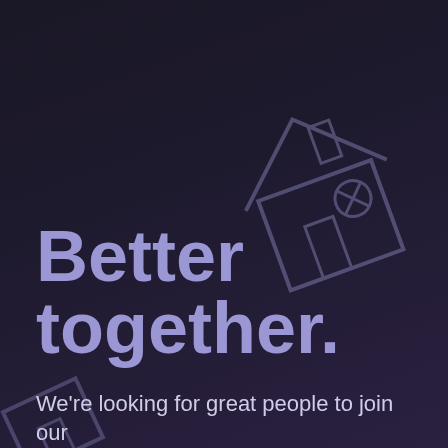[Figure (illustration): Dark-themed decorative house/building icon rendered as outline strokes, tilted at an angle, positioned in the upper right area of the page. A second partial rocket/house icon appears at the bottom left, partially cut off.]
Better together.
We're looking for great people to join our growing team